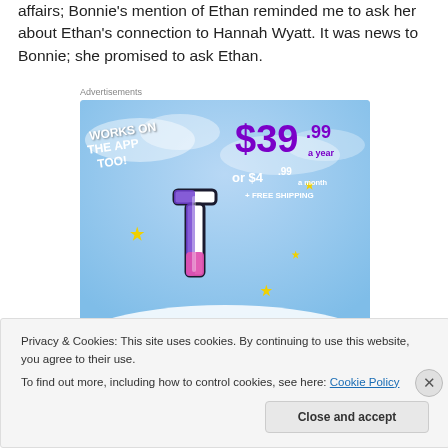affairs; Bonnie's mention of Ethan reminded me to ask her about Ethan's connection to Hannah Wyatt. It was news to Bonnie; she promised to ask Ethan.
Advertisements
[Figure (illustration): Tumblr advertisement banner showing a colorful 't' logo with sparkles on a blue sky background, offering $39.99 a year or $4.99 a month with free shipping, and text 'WORKS ON THE APP TOO!']
Privacy & Cookies: This site uses cookies. By continuing to use this website, you agree to their use.
To find out more, including how to control cookies, see here: Cookie Policy
Close and accept